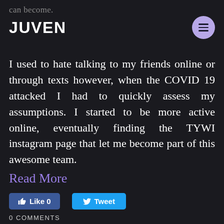can become.
JUVEN
I used to hate talking to my friends online or through texts however, when the COVID 19 attacked I had to quickly assess my assumptions. I started to be more active online, eventually finding the TYWI instagram page that let me become part of this awesome team.
Read More
Like 0
Tweet
0 COMMENTS